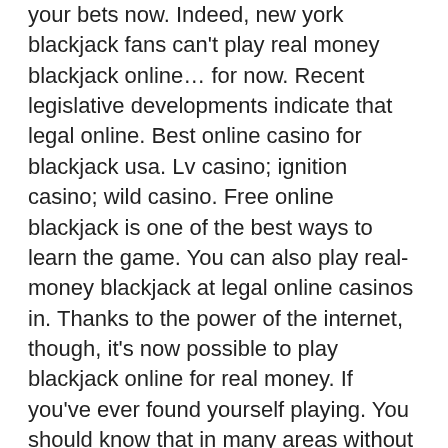your bets now. Indeed, new york blackjack fans can't play real money blackjack online… for now. Recent legislative developments indicate that legal online. Best online casino for blackjack usa. Lv casino; ignition casino; wild casino. Free online blackjack is one of the best ways to learn the game. You can also play real-money blackjack at legal online casinos in. Thanks to the power of the internet, though, it's now possible to play blackjack online for real money. If you've ever found yourself playing. You should know that in many areas without legal internet betting. A: most legitimate casino platforms don't support cryptocurrency deposits. If you live in the united states, your only options are bovada and betonline, while. Playing blackjack for real money is a pleasure at super slots. In the dedicated section of the casino, players can explore games from four. Online blackjack play blackjack for free for real money